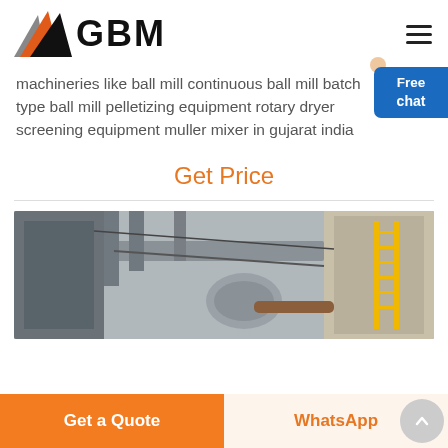[Figure (logo): GBM logo with mountain/triangle shape in orange, grey, and black, with 'GBM' text in bold black]
machineries like ball mill continuous ball mill batch type ball mill pelletizing equipment rotary dryer screening equipment muller mixer in gujarat india
Get Price
[Figure (photo): Industrial machinery photo showing large pipes, ducts, and equipment structures in a factory/plant setting]
Get a Quote
WhatsApp